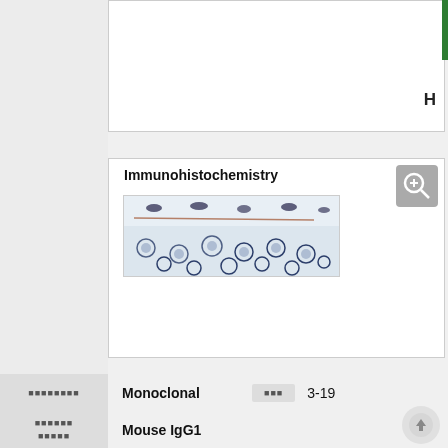[Figure (photo): Partial view of top image panel, content not fully visible (cropped at top of page)]
H
[Figure (photo): Immunohistochemistry panel showing microscopy image of tissue section with dark-stained nuclei visible against light background]
Immunohistochemistry
|  |  |  |  |
| --- | --- | --- | --- |
| (Japanese characters) | Monoclonal | (Japanese characters) | 3-19 |
| (Japanese characters) | Mouse IgG1 |  |  |